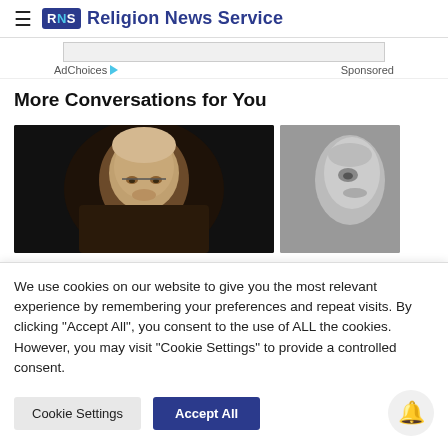RNS Religion News Service
AdChoices  Sponsored
More Conversations for You
[Figure (photo): Two article thumbnail images side by side: left shows an elderly man with glasses in dark lighting, right shows a greyscale close-up face profile]
We use cookies on our website to give you the most relevant experience by remembering your preferences and repeat visits. By clicking "Accept All", you consent to the use of ALL the cookies. However, you may visit "Cookie Settings" to provide a controlled consent.